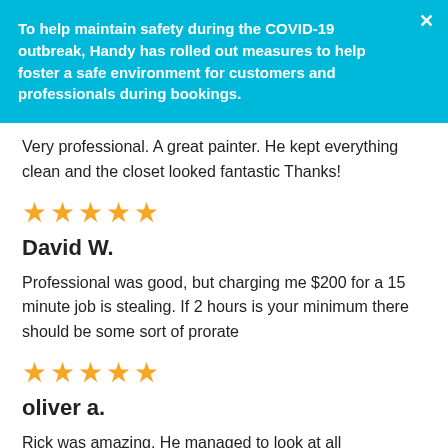To help maintain safety during the COVID-19 outbreak, Handy has rolled out measures to help foster a safe environment for customers and professionals during bookings.
Very professional. A great painter. He kept everything clean and the closet looked fantastic Thanks!
[Figure (other): 5 gold stars rating]
David W.
Professional was good, but charging me $200 for a 15 minute job is stealing. If 2 hours is your minimum there should be some sort of prorate
[Figure (other): 5 gold stars rating]
oliver a.
Rick was amazing. He managed to look at all possibilities